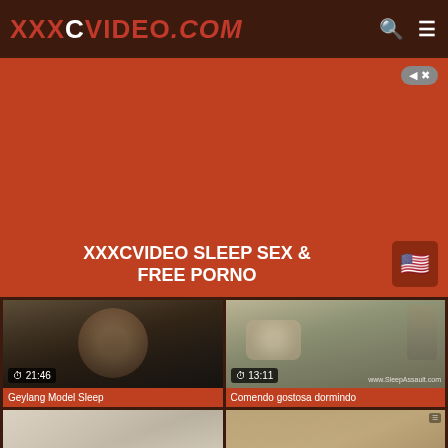XXXCVIDEO.COM
[Figure (screenshot): Advertisement banner area with close button]
XXXCVIDEO SLEEP SEX & FREE PORNO
[Figure (photo): Video thumbnail: Geylang Model Sleep, duration 21:46]
Geylang Model Sleep
[Figure (photo): Video thumbnail: Comendo gostosa dormindo, duration 13:11, watermark www.SleepAssault.com]
Comendo gostosa dormindo
[Figure (photo): Video thumbnail bottom left, partial view]
[Figure (photo): Video thumbnail bottom right, partial view]